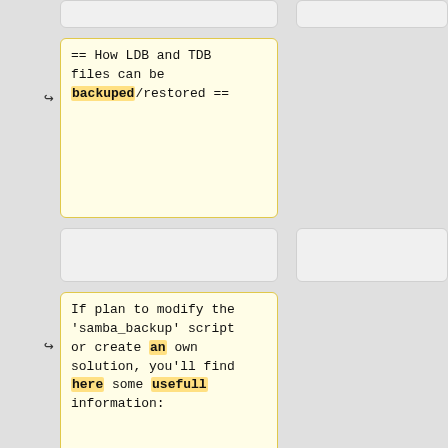== How LDB and TDB files can be backuped/restored ==
If plan to modify the 'samba_backup' script or create an own solution, you'll find here some usefull information:
* You must never copy a running database!
*.ldb and *.tdb files can be backuped online with 'tdbbackup'
* Files created by tdbbackup, are full abd